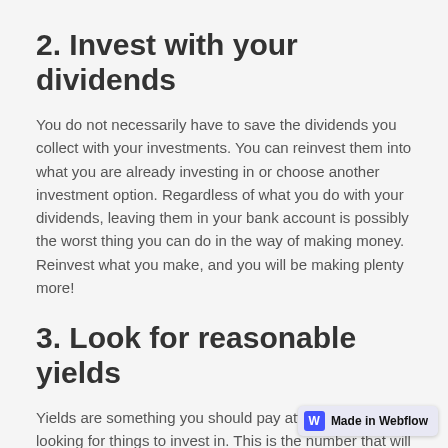2. Invest with your dividends
You do not necessarily have to save the dividends you collect with your investments. You can reinvest them into what you are already investing in or choose another investment option. Regardless of what you do with your dividends, leaving them in your bank account is possibly the worst thing you can do in the way of making money. Reinvest what you make, and you will be making plenty more!
3. Look for reasonable yields
Yields are something you should pay attention to when looking for things to invest in. This is the number that will show you how much you can make. As such, high numbers are extremely enticing, but you should be wary. Sometimes, a company may be doing b... and is simply in are going yield reports to attract...